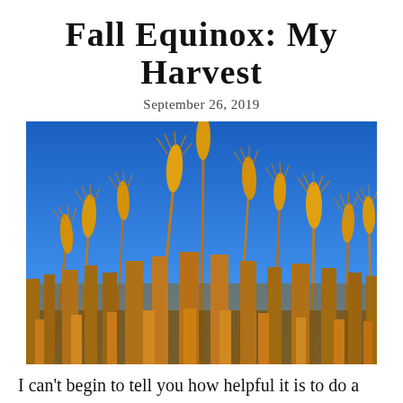Fall Equinox: My Harvest
September 26, 2019
[Figure (photo): Close-up photo of golden wheat stalks against a bright blue sky, shot from below looking upward, showing the ripe grain heads in warm golden tones.]
I can't begin to tell you how helpful it is to do a